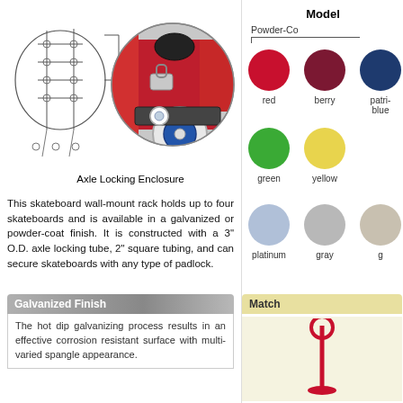[Figure (illustration): Technical line drawing of a skateboard wall-mount rack (left), connected by a line to a circular close-up photo of the axle locking enclosure with red frame and wheel visible (right center).]
Axle Locking Enclosure
This skateboard wall-mount rack holds up to four skateboards and is available in a galvanized or powder-coat finish. It is constructed with a 3" O.D. axle locking tube, 2" square tubing, and can secure skateboards with any type of padlock.
Galvanized Finish
The hot dip galvanizing process results in an effective corrosion resistant surface with multi-varied spangle appearance.
Model
Powder-Co
[Figure (illustration): Color swatches for powder-coat finish options: red, berry, patriot blue, green, yellow, platinum, gray, and additional colors (partially cut off)]
Match
[Figure (illustration): Red post/bollard illustration showing matching accessory]